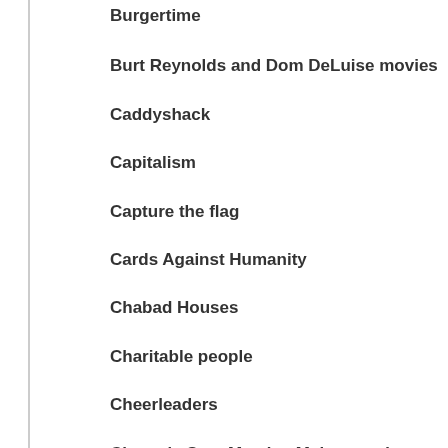Burgertime
Burt Reynolds and Dom DeLuise movies
Caddyshack
Capitalism
Capture the flag
Cards Against Humanity
Chabad Houses
Charitable people
Cheerleaders
Cheers's Sam Mayday Malone and Norm Peterson
Cherry Lime Rickeys